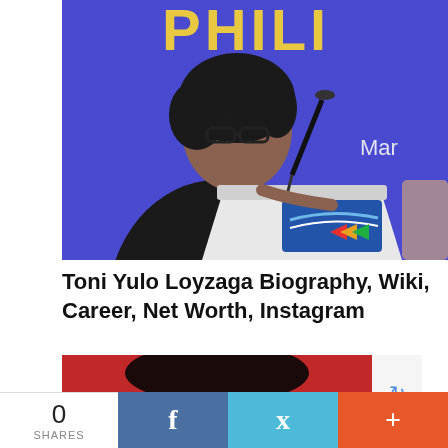[Figure (photo): A woman with short dark hair and glasses speaking at a podium/lectern with a blue background showing partial text 'PHILI'. The lectern has a logo on it with blue swooshes and colorful elements.]
Toni Yulo Loyzaga Biography, Wiki, Career, Net Worth, Instagram
[Figure (photo): Partial image of a person's face against a red background, with a reCAPTCHA badge visible in the lower right corner.]
0 SHARES
[Figure (infographic): Social share bar with Facebook (f), Twitter (bird), and plus (+) buttons in blue, light blue, and orange-red respectively.]